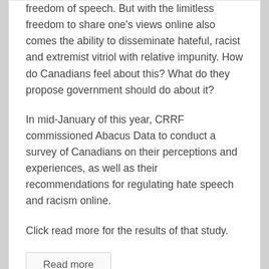freedom of speech. But with the limitless freedom to share one's views online also comes the ability to disseminate hateful, racist and extremist vitriol with relative impunity. How do Canadians feel about this? What do they propose government should do about it?
In mid-January of this year, CRRF commissioned Abacus Data to conduct a survey of Canadians on their perceptions and experiences, as well as their recommendations for regulating hate speech and racism online.
Click read more for the results of that study.
Read more
[Figure (logo): Red star/arrow logo at bottom of page, partial view]